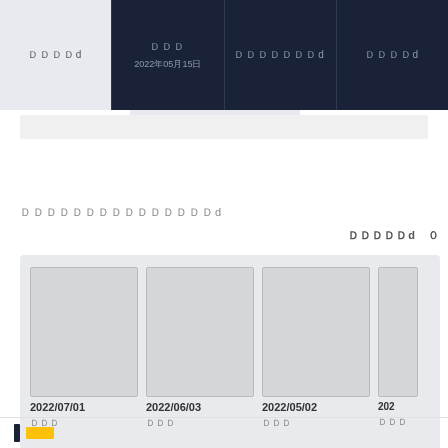[Figure (screenshot): Navigation bar with 4 columns in dark navy background. First column (active/light) shows Japanese text. Second column shows Japanese text with date 2022年05月15日. Third and fourth columns show Japanese text.]
2022/08/03ＤＤＤ日ＤＤ
ＤＤＤＤＤＤＤＤＤＤＤＤＤＤＤd
ＤＤＤＤＤＤ　０
[Figure (screenshot): Gallery of 4 document thumbnails with dates: 2022/07/01, 2022/06/03, 2022/05/02, 202x, each with Japanese subtitle text ＤＤＤ below]
[Figure (infographic): Bottom bar with yellow and dark colored indicator bars]